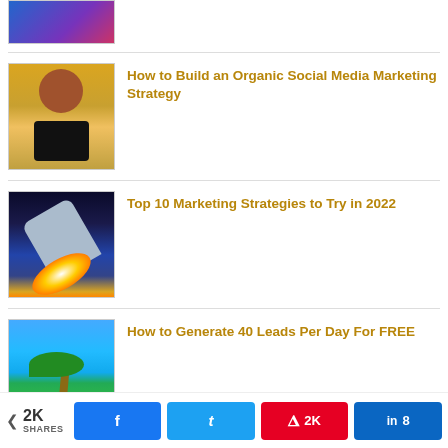[Figure (photo): Partial thumbnail of a person in blue at top of page (cropped)]
How to Build an Organic Social Media Marketing Strategy
[Figure (photo): Woman in yellow top holding a smartphone, smiling]
Top 10 Marketing Strategies to Try in 2022
[Figure (photo): Rocket launching with fire and smoke against dark sky]
How to Generate 40 Leads Per Day For FREE
[Figure (photo): Tropical beach scene with palm tree and blue sky]
< 2K SHARES  [Facebook] [Twitter] [Pinterest 2K] [LinkedIn 8]